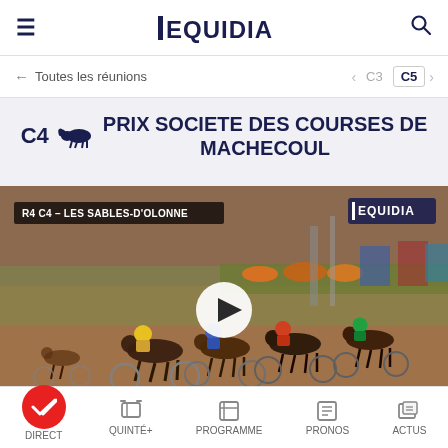EQUIDIA — navigation header with hamburger menu, logo, and search icon
← Toutes les réunions   < C3   C5 >
C4 🐎 PRIX SOCIETE DES COURSES DE MACHECOUL
[Figure (screenshot): Video thumbnail showing harness racing horses and sulkies on a dirt track at Les Sables-d'Olonne. Overlay label top-left: 'R4 C4 – LES SABLES-D'OLONNE'. Equidia logo top-right. Play button in center.]
DIRECT | QUINTÉ+ | PROGRAMME | PRONOS | ACTUS